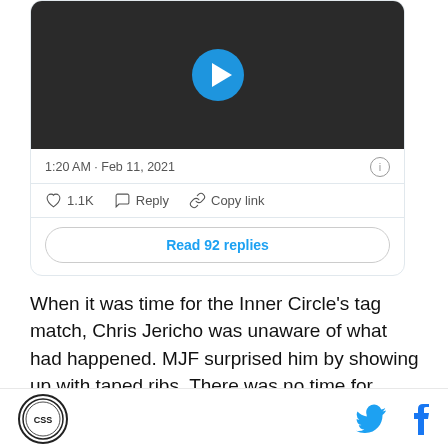[Figure (screenshot): Twitter/X embedded tweet card showing a video thumbnail of two people shaking hands, with timestamp 1:20 AM · Feb 11, 2021, like count 1.1K, Reply and Copy link actions, and a Read 92 replies button]
When it was time for the Inner Circle's tag match, Chris Jericho was unaware of what had happened. MJF surprised him by showing up with taped ribs. There was no time for Jericho to find Sammy for his side of
[Figure (logo): CSS site logo circle at bottom left]
[Figure (logo): Twitter bird icon and Facebook f icon at bottom right]